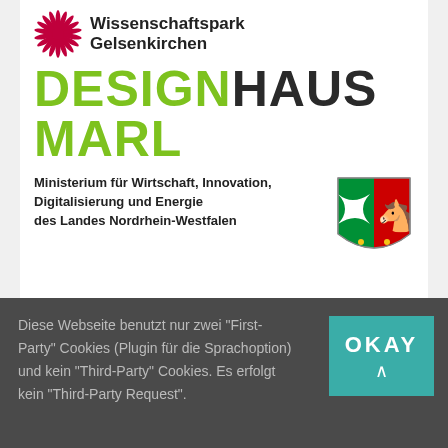[Figure (logo): Wissenschaftspark Gelsenkirchen logo with sunburst icon and text]
DESIGNHAUS MARL
Ministerium für Wirtschaft, Innovation, Digitalisierung und Energie des Landes Nordrhein-Westfalen
[Figure (logo): NRW coat of arms shield logo - green and red with white horse]
SELMA
Diese Webseite benutzt nur zwei "First-Party" Cookies (Plugin für die Sprachoption) und kein "Third-Party" Cookies. Es erfolgt kein "Third-Party Request".
[Figure (other): OKAY button in teal color with chevron arrow]